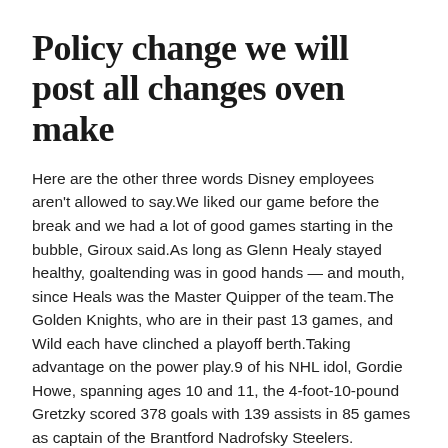Policy change we will post all changes oven make
Here are the other three words Disney employees aren't allowed to say.We liked our game before the break and we had a lot of good games starting in the bubble, Giroux said.As long as Glenn Healy stayed healthy, goaltending was in good hands — and mouth, since Heals was the Master Quipper of the team.The Golden Knights, who are in their past 13 games, and Wild each have clinched a playoff berth.Taking advantage on the power play.9 of his NHL idol, Gordie Howe, spanning ages 10 and 11, the 4-foot-10-pound Gretzky scored 378 goals with 139 assists in 85 games as captain of the Brantford Nadrofsky Steelers.
For STM's, please login at the link below to receive access